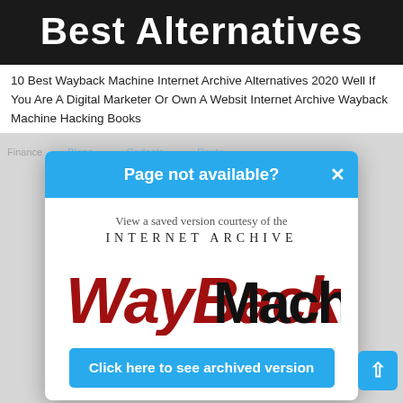Best Alternatives
10 Best Wayback Machine Internet Archive Alternatives 2020 Well If You Are A Digital Marketer Or Own A Websit Internet Archive Wayback Machine Hacking Books
[Figure (screenshot): Wayback Machine 'Page not available?' popup dialog showing Internet Archive Wayback Machine logo with a blue header, subtitle 'View a saved version courtesy of the INTERNET ARCHIVE', the WayBack Machine logo in red and black lettering, and a blue 'Click here to see archived version' button at the bottom.]